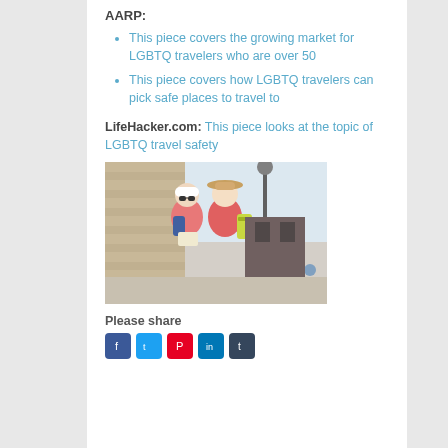AARP:
This piece covers the growing market for LGBTQ travelers who are over 50
This piece covers how LGBTQ travelers can pick safe places to travel to
LifeHacker.com: This piece looks at the topic of LGBTQ travel safety
[Figure (photo): Two tourists wearing pink/red tops and hats, looking at a map, with a stone wall and street lamp in the background]
Please share
[Figure (infographic): Social media share icons: Facebook, Twitter, Pinterest, LinkedIn, Tumblr]